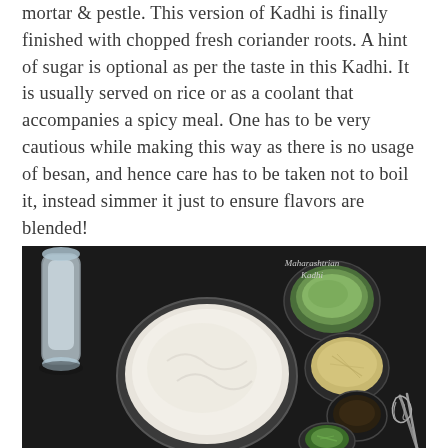mortar & pestle. This version of Kadhi is finally finished with chopped fresh coriander roots. A hint of sugar is optional as per the taste in this Kadhi. It is usually served on rice or as a coolant that accompanies a spicy meal. One has to be very cautious while making this way as there is no usage of besan, and hence care has to be taken not to boil it, instead simmer it just to ensure flavors are blended!
[Figure (photo): Overhead/top-down photo on a dark background showing ingredients for Maharashtrian Kadhi: a glass mortar & pestle (top left), a bowl of whisked yogurt/curd (center), a small bowl of green chili paste (top right), a small bowl of grated ginger/garlic (middle right), a small dark bowl with spice (lower right), a small bowl of chopped fresh coriander (bottom right), and a wire whisk (far right). Text 'Maharashtrian Kadhi' is written in script in the top-right area of the image.]